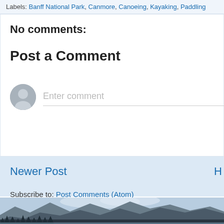Labels: Banff National Park, Canmore, Canoeing, Kayaking, Paddling
No comments:
Post a Comment
[Figure (illustration): User avatar circle icon (gray silhouette) next to an Enter comment input field with a gray bottom border]
Newer Post
H
Subscribe to: Post Comments (Atom)
[Figure (photo): Mountain landscape photo with dark conifer trees in foreground, snow-capped mountains in background under a light blue sky with clouds]